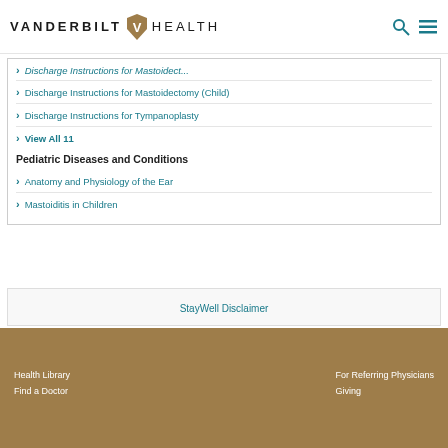VANDERBILT HEALTH
Discharge Instructions for Mastoidectomy (Child)
Discharge Instructions for Tympanoplasty
View All 11
Pediatric Diseases and Conditions
Anatomy and Physiology of the Ear
Mastoiditis in Children
StayWell Disclaimer
Health Library | Find a Doctor | For Referring Physicians | Giving